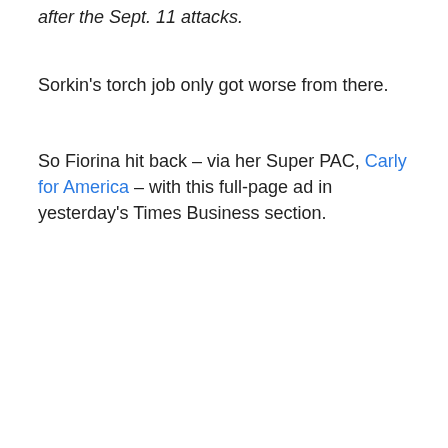after the Sept. 11 attacks.
Sorkin's torch job only got worse from there.
So Fiorina hit back – via her Super PAC, Carly for America – with this full-page ad in yesterday's Times Business section.
[Figure (photo): Photograph of a New York Times full-page advertisement titled 'THE TRUTH ABOUT CARLY' with a response letter to Andrew Ross Sorkin dated August 27, 2015 regarding Carly Fiorina's Business Record: Not So Sterling.]